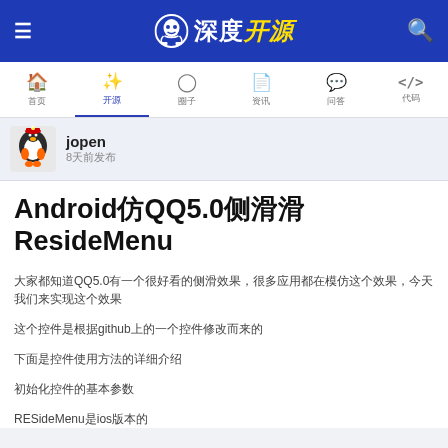深度开源
[Figure (screenshot): Navigation bar with home, edit, circle, document, chat, and code icons with Chinese labels]
jopen 8天前发布
Android仿QQ5.0侧滑ResideMenu
大家都知道QQ5.0有一个很好看的侧滑效果，很多应用都在模仿这个效果，今天我们来实现这个效果
这个控件是根据github上的一个控件修改而来的
下面是控件使用方法的详细介绍
初始化控件的基本参数
RESideMenu是ios版本的